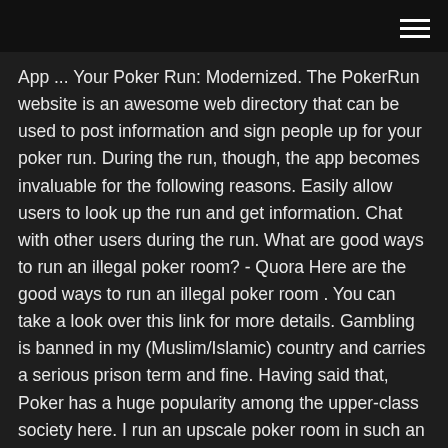[hamburger menu icon]
App ... Your Poker Run: Modernized. The PokerRun website is an awesome web directory that can be used to post information and sign people up for your poker run. During the run, though, the app becomes invaluable for the following reasons. Easily allow users to look up the run and get information. Chat with other users during the run. What are good ways to run an illegal poker room? - Quora Here are the good ways to run an illegal poker room . You can take a look over this link for more details. Gambling is banned in my (Muslim/Islamic) country and carries a serious prison term and fine. Having said that, Poker has a huge popularity among the upper-class society here. I run an upscale poker room in such an Islamic country.